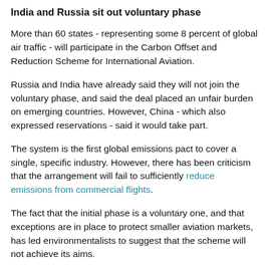India and Russia sit out voluntary phase
More than 60 states - representing some 8 percent of global air traffic - will participate in the Carbon Offset and Reduction Scheme for International Aviation.
Russia and India have already said they will not join the voluntary phase, and said the deal placed an unfair burden on emerging countries. However, China - which also expressed reservations - said it would take part.
The system is the first global emissions pact to cover a single, specific industry. However, there has been criticism that the arrangement will fail to sufficiently reduce emissions from commercial flights.
The fact that the initial phase is a voluntary one, and that exceptions are in place to protect smaller aviation markets, has led environmentalists to suggest that the scheme will not achieve its aims.
"This agreement is a timid step in the right direction when we